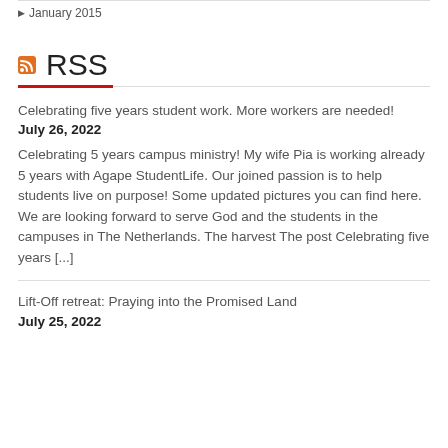January 2015
RSS
Celebrating five years student work. More workers are needed!
July 26, 2022
Celebrating 5 years campus ministry! My wife Pia is working already 5 years with Agape StudentLife. Our joined passion is to help students live on purpose! Some updated pictures you can find here. We are looking forward to serve God and the students in the campuses in The Netherlands. The harvest The post Celebrating five years [...]
Lift-Off retreat: Praying into the Promised Land
July 25, 2022